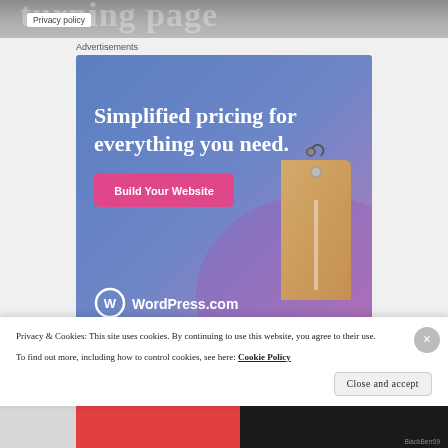[Figure (screenshot): Header banner with newspaper-style text 'turning page' partially visible]
Privacy policy
Advertisements
[Figure (illustration): WordPress.com advertisement: 'Simplified pricing for everything you need.' with a price tag graphic and 'Build Your Website' button. WordPress.com logo at bottom.]
Privacy & Cookies: This site uses cookies. By continuing to use this website, you agree to their use.
To find out more, including how to control cookies, see here: Cookie Policy